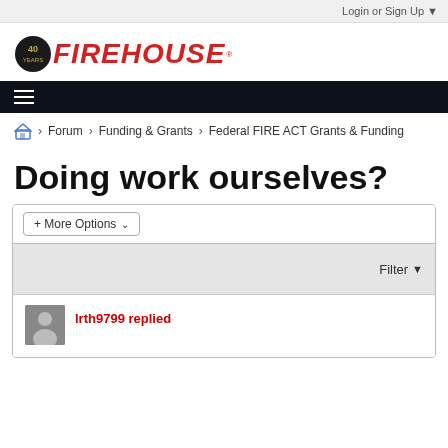Login or Sign Up ▼
[Figure (logo): Firehouse magazine logo with 40th anniversary badge and red italic FIREHOUSE text]
≡ (hamburger menu)
🏠 > Forum > Funding & Grants > Federal FIRE ACT Grants & Funding
Doing work ourselves?
+ More Options ∨
Filter ▼
lrth9799 replied